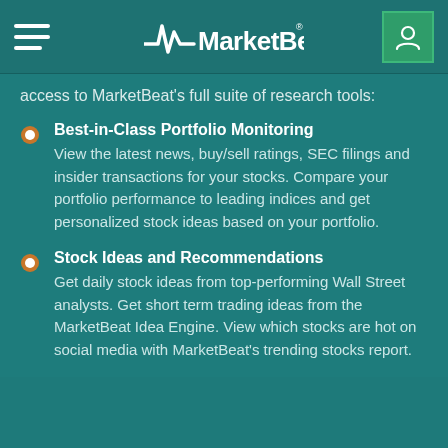MarketBeat
access to MarketBeat's full suite of research tools:
Best-in-Class Portfolio Monitoring — View the latest news, buy/sell ratings, SEC filings and insider transactions for your stocks. Compare your portfolio performance to leading indices and get personalized stock ideas based on your portfolio.
Stock Ideas and Recommendations — Get daily stock ideas from top-performing Wall Street analysts. Get short term trading ideas from the MarketBeat Idea Engine. View which stocks are hot on social media with MarketBeat's trending stocks report.